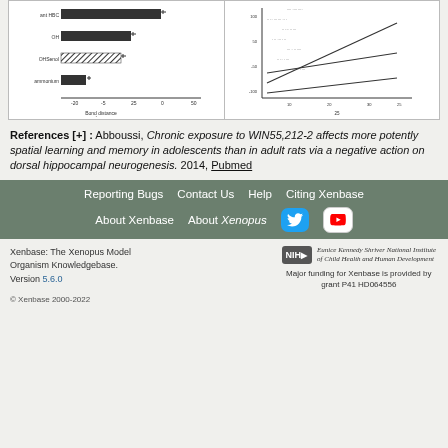[Figure (bar-chart): Horizontal bar chart with multiple rows showing measurement data]
[Figure (scatter-plot): Scatter plot with dotted pattern and regression lines]
References [+] : Abboussi, Chronic exposure to WIN55,212-2 affects more potently spatial learning and memory in adolescents than in adult rats via a negative action on dorsal hippocampal neurogenesis. 2014, Pubmed
Reporting Bugs  Contact Us  Help  Citing Xenbase  About Xenbase  About Xenopus
Xenbase: The Xenopus Model Organism Knowledgebase. Version 5.6.0  Major funding for Xenbase is provided by grant P41 HD064556  © Xenbase 2000-2022